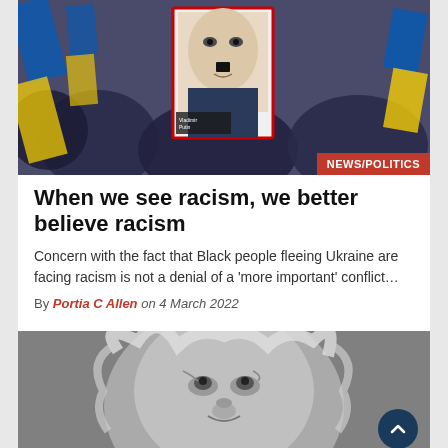[Figure (photo): A protest scene showing a person holding up a magazine cover featuring Putin's face with a Hitler-style mustache drawn on it, surrounded by Ukrainian flags and crowd]
NEWS/POLITICS
When we see racism, we better believe racism
Concern with the fact that Black people fleeing Ukraine are facing racism is not a denial of a 'more important' conflict…
By Portia C Allen on 4 March 2022
[Figure (photo): Black and white close-up portrait of an elderly person with long wild hair looking upward]